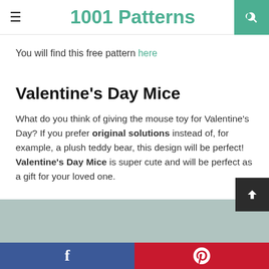1001 Patterns
You will find this free pattern here
Valentine's Day Mice
What do you think of giving the mouse toy for Valentine's Day? If you prefer original solutions instead of, for example, a plush teddy bear, this design will be perfect! Valentine's Day Mice is super cute and will be perfect as a gift for your loved one.